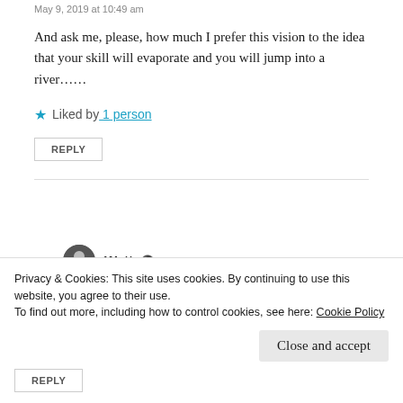May 9, 2019 at 10:49 am
And ask me, please, how much I prefer this vision to the idea that your skill will evaporate and you will jump into a river……
★ Liked by 1 person
REPLY
Watt
May 9, 2019 at 11:10 am
Privacy & Cookies: This site uses cookies. By continuing to use this website, you agree to their use. To find out more, including how to control cookies, see here: Cookie Policy
Close and accept
REPLY